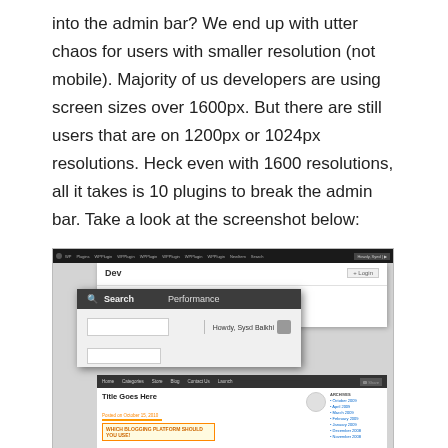into the admin bar? We end up with utter chaos for users with smaller resolution (not mobile). Majority of us developers are using screen sizes over 1600px. But there are still users that are on 1200px or 1024px resolutions. Heck even with 1600 resolutions, all it takes is 10 plugins to break the admin bar. Take a look at the screenshot below:
[Figure (screenshot): A screenshot showing a WordPress admin bar broken/overflowing with many plugin menu items, overlapping a website preview with a dark dropdown showing Search and Performance labels, a 'Howdy, Sysd Balkhi' greeting, and a blog post titled 'Title Goes Here' with a 'WHICH BLOGGING PLATFORM SHOULD YOU USE!' banner.]
O and if you have 10 plugins adding to the admin bar on a resolution like 1200px or so. You will have